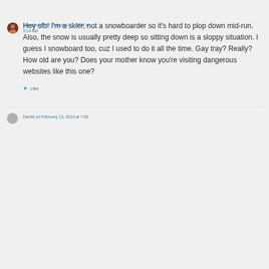sheepbutter on February 13, 2014 at 9:14 AM
Hey sfb! I'm a skier, not a snowboarder so it's hard to plop down mid-run. Also, the snow is usually pretty deep so sitting down is a sloppy situation. I guess I snowboard too, cuz I used to do it all the time. Gay tray? Really? How old are you? Does your mother know you're visiting dangerous websites like this one?
★ Like
Daniel on February 13, 2014 at 7:58